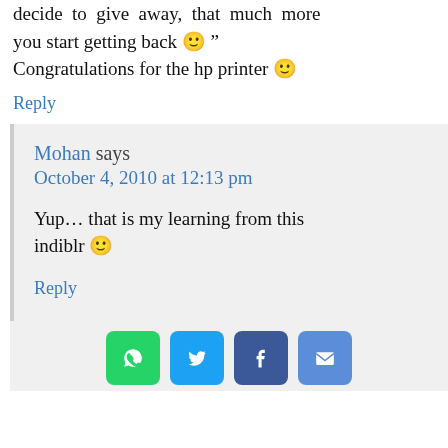decide to give away, that much more you start getting back 🙂 " Congratulations for the hp printer 🙂
Reply
Mohan says
October 4, 2010 at 12:13 pm
Yup… that is my learning from this indiblr 🙂
Reply